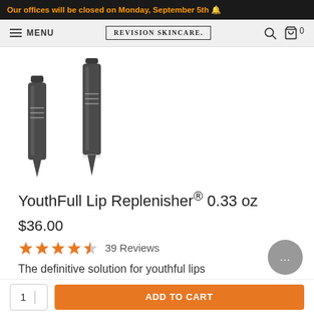Our offices will be closed on Monday, September 5th 🔔
MENU | REVISION SKINCARE. | 🔍 🛒 0
[Figure (photo): Two dark grey cosmetic tubes (YouthFull Lip Replenisher) standing upright side by side on white background]
YouthFull Lip Replenisher® 0.33 oz
$36.00
★★★★☆ 39 Reviews
The definitive solution for youthful lips